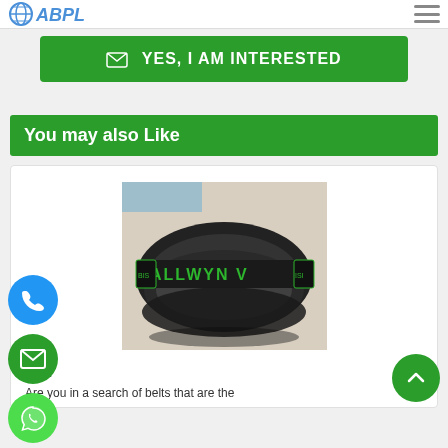ABPL
YES, I AM INTERESTED
You may also Like
[Figure (photo): Photo of a black rubber V-belt with green ALLWYN V branding text printed on it, coiled/looped on a light background]
Belt
Are you in a search of belts that are the